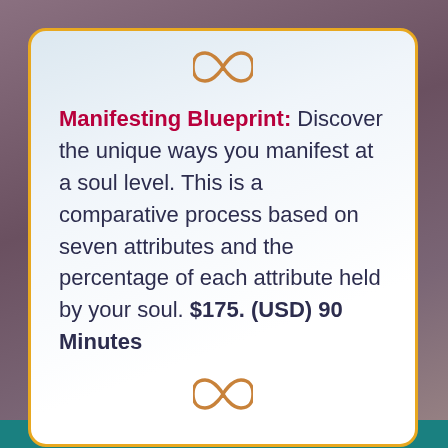[Figure (illustration): Infinity symbol icon in copper/bronze color, centered at top of card]
Manifesting Blueprint: Discover the unique ways you manifest at a soul level. This is a comparative process based on seven attributes and the percentage of each attribute held by your soul. $175. (USD) 90 Minutes
[Figure (illustration): Infinity symbol icon in copper/bronze color, centered at bottom of card]